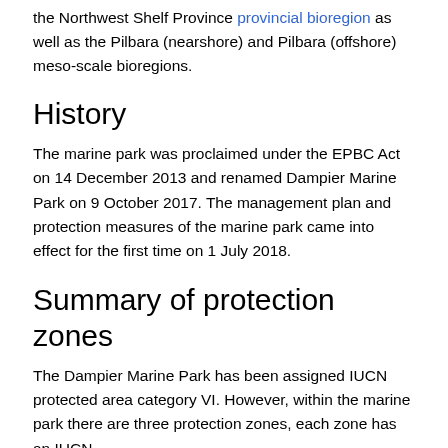the Northwest Shelf Province provincial bioregion as well as the Pilbara (nearshore) and Pilbara (offshore) meso-scale bioregions.
History
The marine park was proclaimed under the EPBC Act on 14 December 2013 and renamed Dampier Marine Park on 9 October 2017. The management plan and protection measures of the marine park came into effect for the first time on 1 July 2018.
Summary of protection zones
The Dampier Marine Park has been assigned IUCN protected area category VI. However, within the marine park there are three protection zones, each zone has an IUCN category that best describes its management objectives.